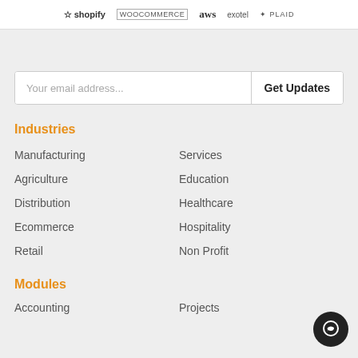shopify | WOOCOMMERCE | aws | exotel | PLAID
Your email address...
Industries
Manufacturing
Services
Agriculture
Education
Distribution
Healthcare
Ecommerce
Hospitality
Retail
Non Profit
Modules
Accounting
Projects